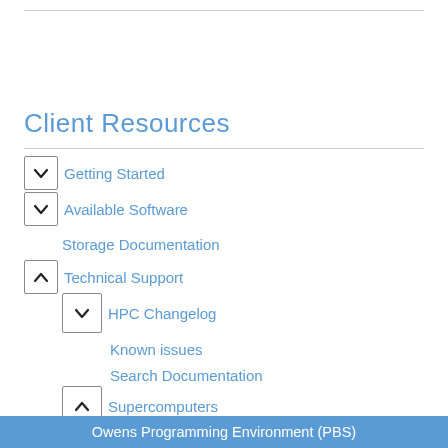Client Resources
Getting Started
Available Software
Storage Documentation
Technical Support
HPC Changelog
Known issues
Search Documentation
Supercomputers
Owens
Technical Specifications
Environment changes in Slurm migration
Owens Programming Environment (PBS)